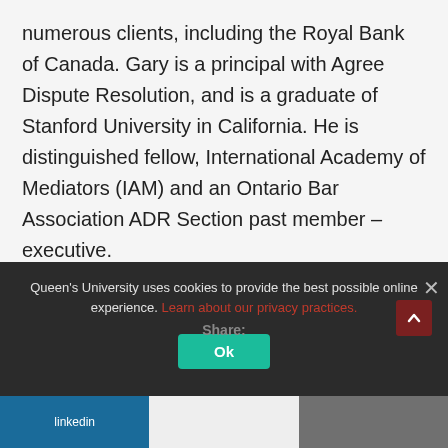numerous clients, including the Royal Bank of Canada. Gary is a principal with Agree Dispute Resolution, and is a graduate of Stanford University in California. He is distinguished fellow, International Academy of Mediators (IAM) and an Ontario Bar Association ADR Section past member – executive.
Queen's University uses cookies to provide the best possible online experience. Learn about our privacy practices. Ok